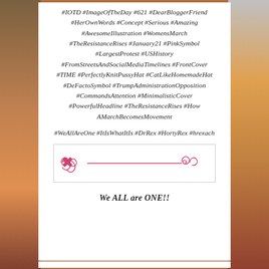#IOTD #ImageOfTheDay #621 #DearBloggerFriend #HerOwnWords #Concept #Serious #Amazing #AwesomeIllustration #WomensMarch #TheResistanceRises #January21 #PinkSymbol #LargestProtest #USHistory #FromStreetsAndSocialMediaTimelines #FrontCover #TIME #PerfectlyKnitPussyHat #CatLikeHomemadeHat #DeFactoSymbol #TrumpAdministrationOpposition #CommandsAttention #MinimalisticCover #PowerfulHeadline #TheResistanceRises #How AMarchBecomesMovement
#WeAllAreOne #ItIsWhatItIs #DrRex #HortyRex #hrexach
[Figure (illustration): Decorative horizontal divider with pink line and swirl/scroll ornaments on each end inside a light bordered box]
We ALL are ONE!!